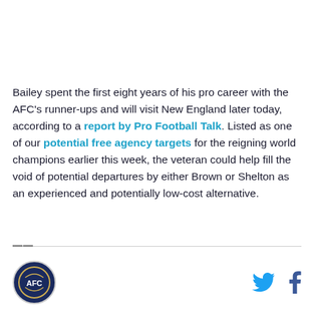Bailey spent the first eight years of his pro career with the AFC's runner-ups and will visit New England later today, according to a report by Pro Football Talk. Listed as one of our potential free agency targets for the reigning world champions earlier this week, the veteran could help fill the void of potential departures by either Brown or Shelton as an experienced and potentially low-cost alternative.
Logo and social icons